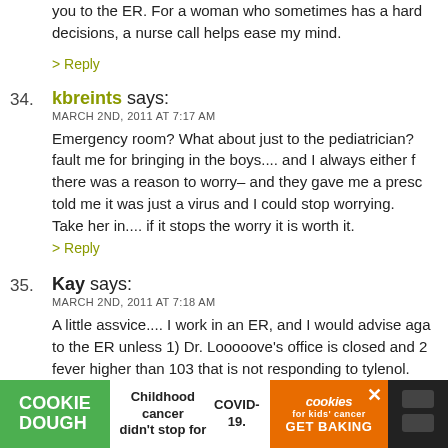you to the ER. For a woman who sometimes has a hard time making decisions, a nurse call helps ease my mind.
> Reply
34. kbreints says:
MARCH 2ND, 2011 AT 7:17 AM
Emergency room? What about just to the pediatrician? fault me for bringing in the boys.... and I always either found there was a reason to worry– and they gave me a presc told me it was just a virus and I could stop worrying. Take her in.... if it stops the worry it is worth it.
> Reply
35. Kay says:
MARCH 2ND, 2011 AT 7:18 AM
A little assvice.... I work in an ER, and I would advise aga to the ER unless 1) Dr. Looooove's office is closed and 2 fever higher than 103 that is not responding to tylenol.
[Figure (other): Advertisement banner for Cookie Dough and Cookies for Kids' Cancer charity with COVID-19 message]